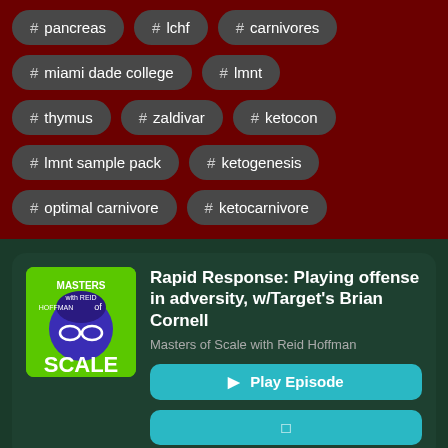# pancreas
# lchf
# carnivores
# miami dade college
# lmnt
# thymus
# zaldivar
# ketocon
# lmnt sample pack
# ketogenesis
# optimal carnivore
# ketocarnivore
Rapid Response: Playing offense in adversity, w/Target's Brian Cornell
Masters of Scale with Reid Hoffman
Play Episode